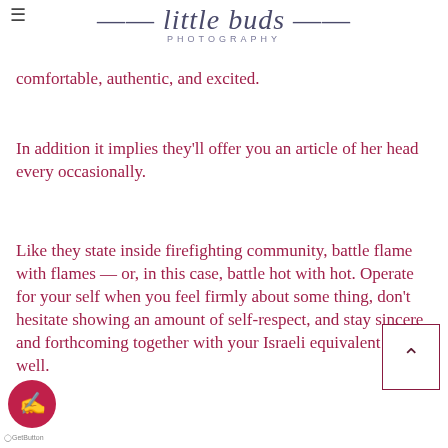little buds PHOTOGRAPHY
comfortable, authentic, and excited.
In addition it implies they'll offer you an article of her head every occasionally.
Like they state inside firefighting community, battle flame with flames — or, in this case, battle hot with hot. Operate for your self when you feel firmly about some thing, don't hesitate showing an amount of self-respect, and stay sincere and forthcoming together with your Israeli equivalent as well.